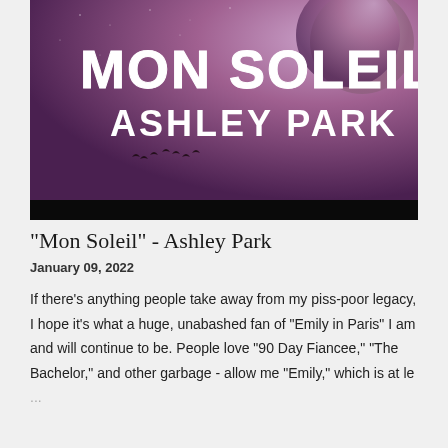[Figure (illustration): Album cover art for 'Mon Soleil' by Ashley Park. Purple/mauve dusk sky with large moon in upper right, silhouettes of birds in flight, and brush-script white text reading 'MON SOLEIL' on top and 'ASHLEY PARK' below in bold white block letters. Black strip at the bottom of the image.]
"Mon Soleil" - Ashley Park
January 09, 2022
If there's anything people take away from my piss-poor legacy, I hope it's what a huge, unabashed fan of "Emily in Paris" I am and will continue to be. People love "90 Day Fiancee," "The Bachelor," and other garbage - allow me "Emily," which is at le ...